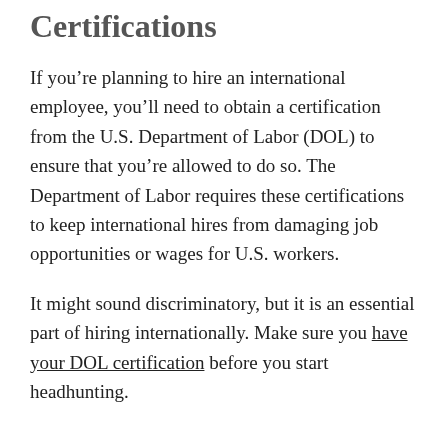Certifications
If you're planning to hire an international employee, you'll need to obtain a certification from the U.S. Department of Labor (DOL) to ensure that you're allowed to do so. The Department of Labor requires these certifications to keep international hires from damaging job opportunities or wages for U.S. workers.
It might sound discriminatory, but it is an essential part of hiring internationally. Make sure you have your DOL certification before you start headhunting.